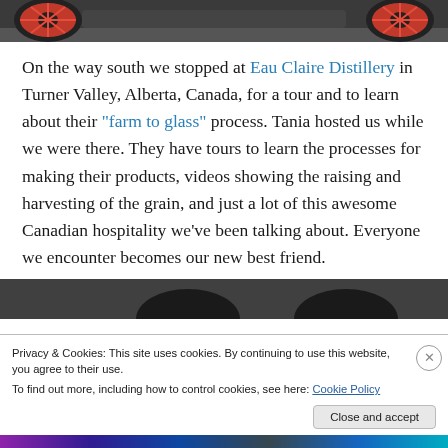[Figure (photo): Top strip showing part of a motorcycle with red/orange spoked wheels on a dark road surface]
On the way south we stopped at Eau Claire Distillery in Turner Valley, Alberta, Canada, for a tour and to learn about their "farm to glass" process. Tania hosted us while we were there. They have tours to learn the processes for making their products, videos showing the raising and harvesting of the grain, and just a lot of this awesome Canadian hospitality we've been talking about. Everyone we encounter becomes our new best friend.
[Figure (photo): Bottom partial photo showing dark hats/helmets against a dark background]
Privacy & Cookies: This site uses cookies. By continuing to use this website, you agree to their use.
To find out more, including how to control cookies, see here: Cookie Policy
Close and accept